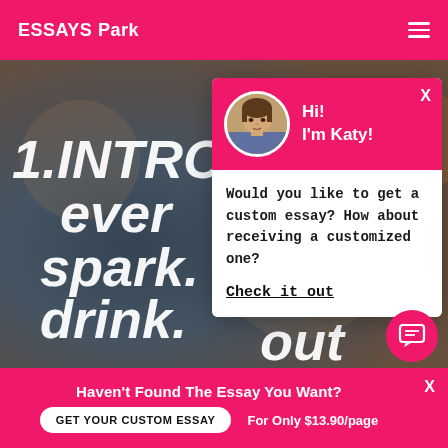ESSAYS Park
[Figure (screenshot): Hero background image showing a blurred scene of a person holding a drink, with large white italic text partially visible: '1.INTRO', 'ever', 'spark.', 'drink.', 'out']
[Figure (infographic): Popup chat widget with pink header showing avatar of woman named Katy, message asking about custom essay, and Check it out link]
Hi!
I'm Katy!
Would you like to get a custom essay? How about receiving a customized one?
Check it out
Haven't Found The Essay You Want?
GET YOUR CUSTOM ESSAY   For Only $13.90/page